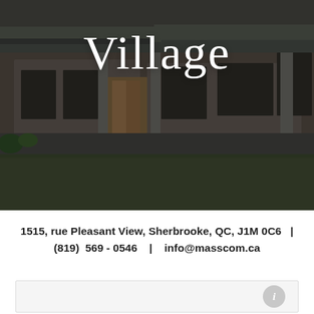[Figure (photo): Exterior photograph of a building with stone facade, covered entrance with columns, and green lawn in foreground. Image is darkened with overlay.]
Village
1515, rue Pleasant View, Sherbrooke, QC, J1M 0C6   |   (819)  569 - 0546    |    info@masscom.ca